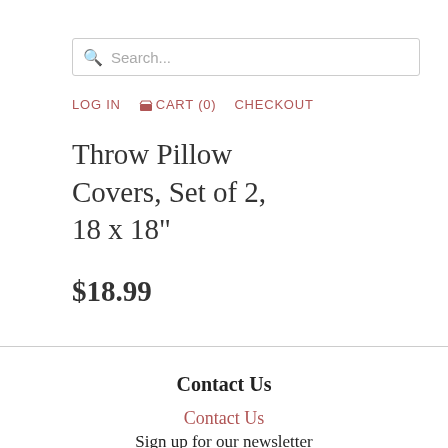Search...
LOG IN  CART (0)  CHECKOUT
Throw Pillow Covers, Set of 2, 18 x 18"
$18.99
Contact Us
Contact Us
Sign up for our newsletter